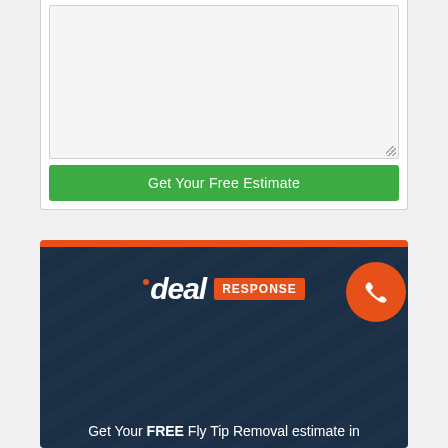[Figure (screenshot): Form section with empty textarea input and a green 'Get Your Free Estimate' button]
Get Your Free Estimate
[Figure (illustration): Ideal Response advertisement banner with orange top bar, dark navy background, Ideal Response logo, phone icon circle, and text 'Get Your FREE Fly Tip Removal estimate in']